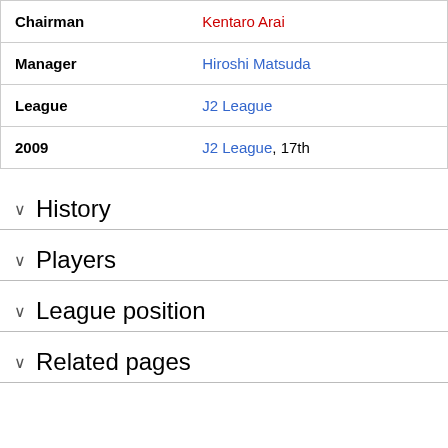|  |  |
| --- | --- |
| Chairman | Kentaro Arai |
| Manager | Hiroshi Matsuda |
| League | J2 League |
| 2009 | J2 League, 17th |
History
Players
League position
Related pages